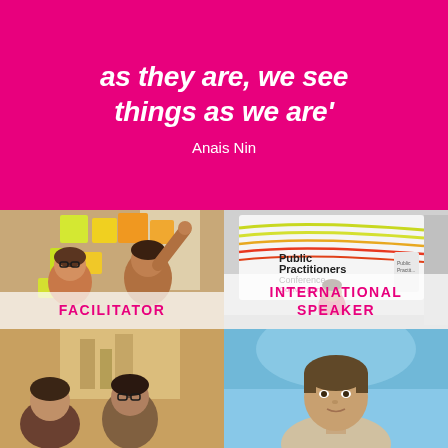as they are, we see things as we are' Anais Nin
[Figure (photo): Two people in a workshop pointing at colorful sticky notes on a glass wall, yellow and orange post-its visible.]
FACILITATOR
[Figure (photo): Woman in red dress presenting on stage at Public Practitioners Conference Convergence event, large projection screen behind her.]
INTERNATIONAL SPEAKER
[Figure (photo): Group of people in a meeting or workshop setting, two people visible in lower left.]
[Figure (photo): Close-up portrait of a person with short brown hair against a blue background.]